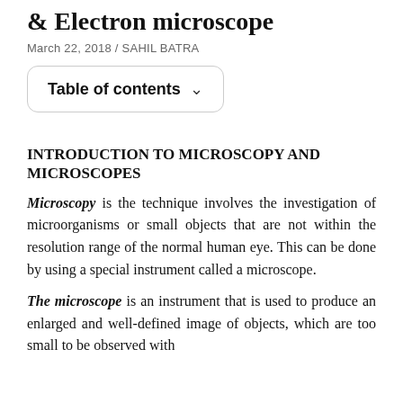& Electron microscope
March 22, 2018 / SAHIL BATRA
Table of contents ∨
INTRODUCTION TO MICROSCOPY AND MICROSCOPES
Microscopy is the technique involves the investigation of microorganisms or small objects that are not within the resolution range of the normal human eye. This can be done by using a special instrument called a microscope.
The microscope is an instrument that is used to produce an enlarged and well-defined image of objects, which are too small to be observed with